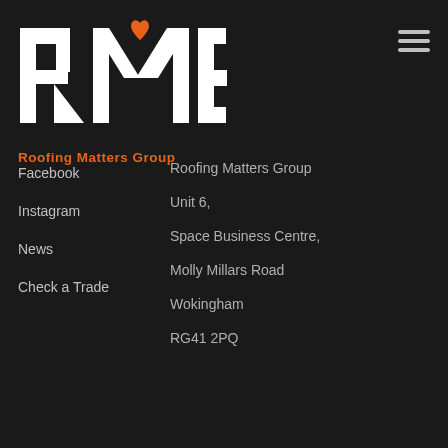[Figure (logo): RMG Roofing Matters Group logo — large white RMG letters with an orange heart/arrow accent on the M, and orange 'Roofing Matters Group' text below]
Facebook
Instagram
News
Check a Trade
Roofing Matters Group
Unit 6,
Space Business Centre,
Molly Millars Road
Wokingham
RG41 2PQ